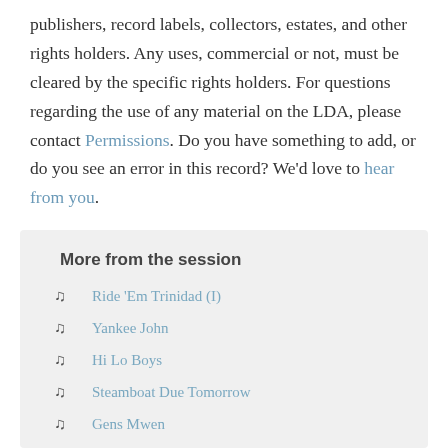publishers, record labels, collectors, estates, and other rights holders. Any uses, commercial or not, must be cleared by the specific rights holders. For questions regarding the use of any material on the LDA, please contact Permissions. Do you have something to add, or do you see an error in this record? We'd love to hear from you.
More from the session
Ride 'Em Trinidad (I)
Yankee John
Hi Lo Boys
Steamboat Due Tomorrow
Gens Mwen